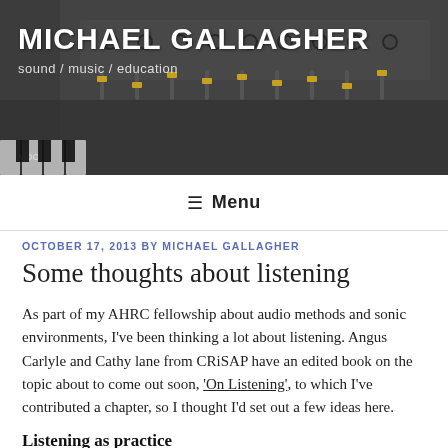MICHAEL GALLAGHER
sound / music / education
≡ Menu
OCTOBER 17, 2013 BY MICHAEL GALLAGHER
Some thoughts about listening
As part of my AHRC fellowship about audio methods and sonic environments, I've been thinking a lot about listening. Angus Carlyle and Cathy lane from CRiSAP have an edited book on the topic about to come out soon, 'On Listening', to which I've contributed a chapter, so I thought I'd set out a few ideas here.
Listening as practice